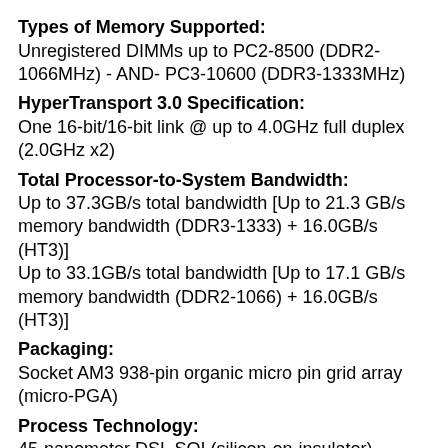Types of Memory Supported:
Unregistered DIMMs up to PC2-8500 (DDR2-1066MHz) - AND- PC3-10600 (DDR3-1333MHz)
HyperTransport 3.0 Specification:
One 16-bit/16-bit link @ up to 4.0GHz full duplex (2.0GHz x2)
Total Processor-to-System Bandwidth:
Up to 37.3GB/s total bandwidth [Up to 21.3 GB/s memory bandwidth (DDR3-1333) + 16.0GB/s (HT3)] Up to 33.1GB/s total bandwidth [Up to 17.1 GB/s memory bandwidth (DDR2-1066) + 16.0GB/s (HT3)]
Packaging:
Socket AM3 938-pin organic micro pin grid array (micro-PGA)
Process Technology:
45-nanometer DSL SOI (silicon-on-insulator) technology
Approximate Die Size:
346mm2
Approximate Transistor count: